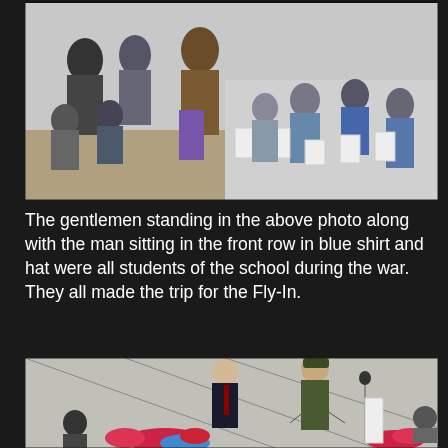[Figure (photo): Outdoor event with many people seated in white folding chairs at what appears to be an airshow or memorial ceremony. Several gentlemen are standing, and one man is seated in the front row wearing a blue shirt and hat. Crowd is mostly elderly.]
The gentlemen standing in the above photo along with the man sitting in the front row in blue shirt and hat were all students of the school during the war. They all made the trip for the Fly-In.
[Figure (photo): Two men standing on a stage or platform at an outdoor event. One man is in a dark suit, the other is in an olive military dress uniform with a garrison cap and microphone on a stand in front of him. Flowers in the foreground, audience visible in background.]